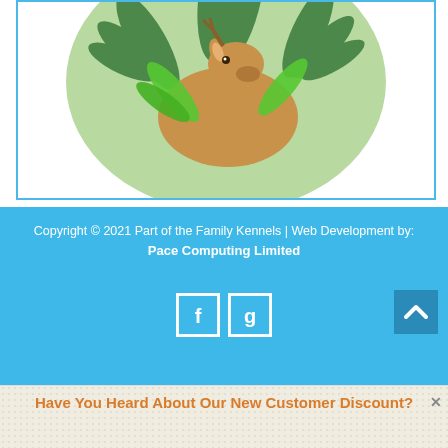[Figure (illustration): Circular illustration of a deer or camel-like animal among green tropical leaves/ferns, brown and green tones, inside a white box with light blue border]
Copyright © 2021 Part of the Family Kennels | Web Development by: Pace Computing Limited
[Figure (logo): Facebook social icon - letter f in white on transparent background with white border]
[Figure (logo): Google+ social icon - letter g in white on transparent background with white border]
[Figure (other): Back to top button - dark blue square with white upward chevron arrow]
Have You Heard About Our New Customer Discount?